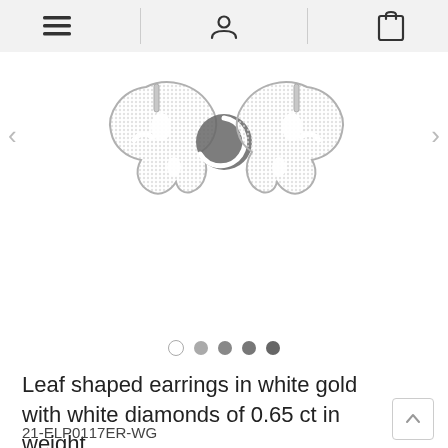Navigation bar with menu, user, and cart icons
[Figure (photo): Two leaf-shaped diamond earrings in white gold, shown side by side. Each earring is shaped like a tropical monstera leaf with pavé-set white diamonds. A circular loading/overlay icon is visible in the center.]
Navigation dots: 1 empty, 4 filled (light to dark gray)
Leaf shaped earrings in white gold with white diamonds of 0.65 ct in weight
21-ELP0117ER-WG